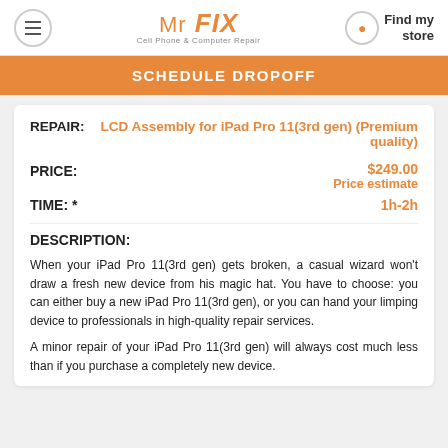Mr FIX Cell Phone & Computer Repair | Find my store
SCHEDULE DROPOFF
REPAIR: LCD Assembly for iPad Pro 11(3rd gen) (Premium quality)
PRICE: $249.00 Price estimate
TIME: * 1h-2h
DESCRIPTION:
When your iPad Pro 11(3rd gen) gets broken, a casual wizard won't draw a fresh new device from his magic hat. You have to choose: you can either buy a new iPad Pro 11(3rd gen), or you can hand your limping device to professionals in high-quality repair services.
A minor repair of your iPad Pro 11(3rd gen) will always cost much less than if you purchase a completely new device.